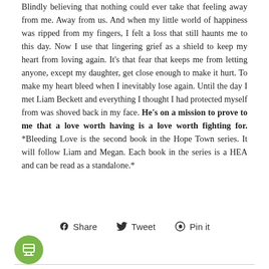Blindly believing that nothing could ever take that feeling away from me. Away from us. And when my little world of happiness was ripped from my fingers, I felt a loss that still haunts me to this day. Now I use that lingering grief as a shield to keep my heart from loving again. It's that fear that keeps me from letting anyone, except my daughter, get close enough to make it hurt. To make my heart bleed when I inevitably lose again. Until the day I met Liam Beckett and everything I thought I had protected myself from was shoved back in my face. He's on a mission to prove to me that a love worth having is a love worth fighting for. *Bleeding Love is the second book in the Hope Town series. It will follow Liam and Megan. Each book in the series is a HEA and can be read as a standalone.*
[Figure (other): Social sharing buttons: Share (Facebook), Tweet (Twitter), Pin it (Pinterest), and a green circular avatar icon]